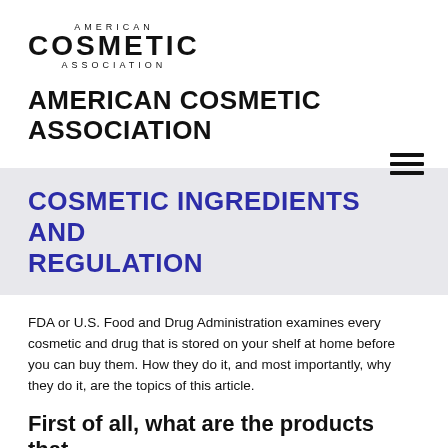[Figure (logo): American Cosmetic Association logo with stacked text: AMERICAN in small caps, COSMETIC in large bold, ASSOCIATION in small caps]
AMERICAN COSMETIC ASSOCIATION
[Figure (other): Hamburger menu icon with three horizontal lines]
COSMETIC INGREDIENTS AND REGULATION
FDA or U.S. Food and Drug Administration examines every cosmetic and drug that is stored on your shelf at home before you can buy them. How they do it, and most importantly, why they do it, are the topics of this article.
First of all, what are the products that